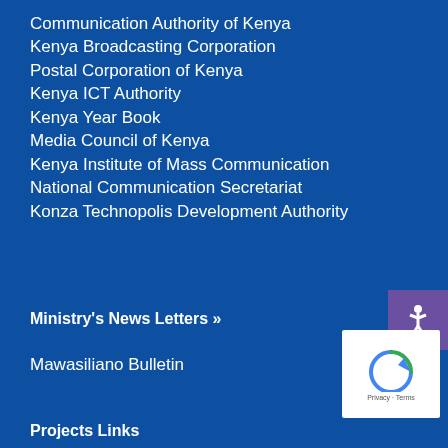Communication Authority of Kenya
Kenya Broadcasting Corporation
Postal Corporation of Kenya
Kenya ICT Authority
Kenya Year Book
Media Council of Kenya
Kenya Institute of Mass Communication
National Communication Secretariat
Konza Technopolis Development Authority
Ministry's News Letters »
Mawasiliano Bulletin
Projects Links